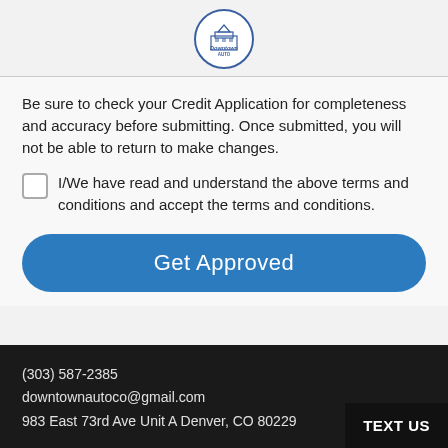[Figure (logo): Downtown Auto circular logo with building illustration]
Be sure to check your Credit Application for completeness and accuracy before submitting. Once submitted, you will not be able to return to make changes.
I/We have read and understand the above terms and conditions and accept the terms and conditions.
Get Approved
(303) 587-2385
downtownautoco@gmail.com
983 East 73rd Ave Unit A Denver, CO 80229